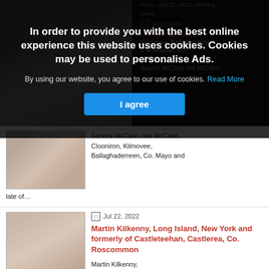[Figure (photo): Cookie consent overlay on an obituary website. The overlay has a dark semi-transparent background covering the top portion of the page.]
In order to provide you with the best online experience this website uses cookies. Cookies may be used to personalise Ads.
By using our website, you agree to our use of cookies. Read More
I agree
[Figure (photo): Partial photo of a person (first obituary entry), visible in lower left area below overlay.]
Sandra McCann nee McCabe, Clooniron, Kilmovee, Ballaghaderreen, Co. Mayo and late of...
[Figure (photo): Photo of Martin Kilkenny, a middle-aged man with brown hair and a mustache.]
Jul 22, 2022
Martin Kilkenny, Long Island, New York and formerly of Castleteehan, Castlerea, Co. Roscommon
Martin Kilkenny,
Long Island, New York and formerly of Castleteehan,
Castlerea, Co.